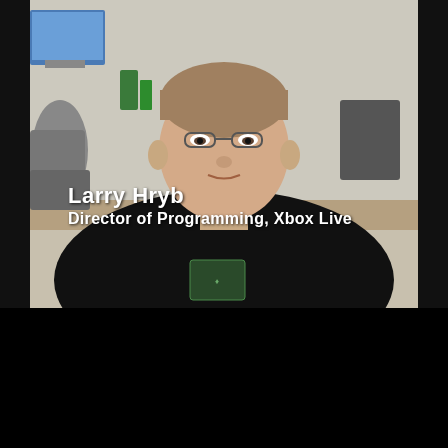[Figure (screenshot): Video screenshot of a man (Larry Hryb) wearing a black t-shirt, sitting in an office environment. The lower portion of the frame shows a lower-third graphic with his name and title. The bottom portion of the page is black (video letterbox).]
Larry Hryb
Director of Programming, Xbox Live